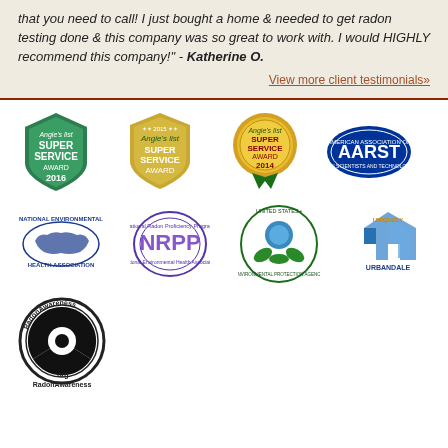that you need to call! I just bought a home & needed to get radon testing done & this company was so great to work with. I would HIGHLY recommend this company!" - Katherine O.
View more client testimonials»
[Figure (logo): Angie's List Super Service Award 2016 (green shield badge)]
[Figure (logo): Angie's List 2015 Super Service Award (gold shield badge)]
[Figure (logo): Angie's List Super Service Award 2014 (gold medallion with green ribbons)]
[Figure (logo): AARST American Association of Radon Scientists and Technologists logo]
[Figure (logo): National Environmental Health Association logo]
[Figure (logo): National Radon Proficiency Program NRPP logo]
[Figure (logo): United States Environmental Protection Agency circular logo]
[Figure (logo): Uniquely Urbandale logo]
[Figure (logo): RadonAwareness.org logo with radiation symbol]